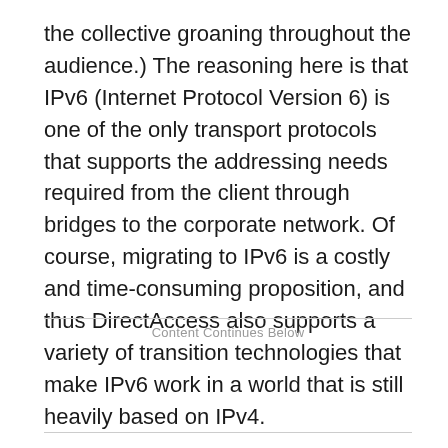the collective groaning throughout the audience.) The reasoning here is that IPv6 (Internet Protocol Version 6) is one of the only transport protocols that supports the addressing needs required from the client through bridges to the corporate network. Of course, migrating to IPv6 is a costly and time-consuming proposition, and thus DirectAccess also supports a variety of transition technologies that make IPv6 work in a world that is still heavily based on IPv4.
Content Continues Below